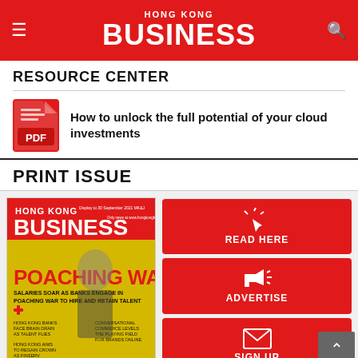HONG KONG BUSINESS
RESOURCE CENTER
How to unlock the full potential of your cloud investments
PRINT ISSUE
[Figure (photo): Hong Kong Business magazine cover featuring POACHING WAR headline with man in suit pulling ropes]
[Figure (infographic): Three red action buttons: READ HERE (cursor icon), ADVERTISE (megaphone icon), SIGN UP (envelope icon)]